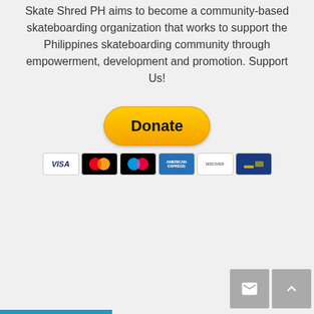Skate Shred PH aims to become a community-based skateboarding organization that works to support the Philippines skateboarding community through empowerment, development and promotion. Support Us!
[Figure (other): PayPal Donate button (yellow rounded pill shape) with payment card icons below (Visa, Mastercard, Maestro, American Express, Discover, and one more card)]